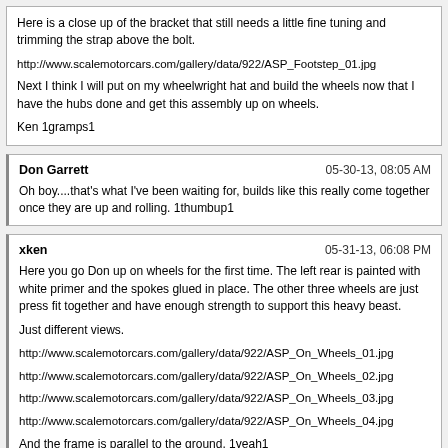Here is a close up of the bracket that still needs a little fine tuning and trimming the strap above the bolt.

http://www.scalemotorcars.com/gallery/data/922/ASP_Footstep_01.jpg

Next I think I will put on my wheelwright hat and build the wheels now that I have the hubs done and get this assembly up on wheels.

Ken 1gramps1
Don Garrett | 05-30-13, 08:05 AM

Oh boy....that's what I've been waiting for, builds like this really come together once they are up and rolling. 1thumbup1
xken | 05-31-13, 06:08 PM

Here you go Don up on wheels for the first time. The left rear is painted with white primer and the spokes glued in place. The other three wheels are just press fit together and have enough strength to support this heavy beast.

Just different views.

http://www.scalemotorcars.com/gallery/data/922/ASP_On_Wheels_01.jpg
http://www.scalemotorcars.com/gallery/data/922/ASP_On_Wheels_02.jpg
http://www.scalemotorcars.com/gallery/data/922/ASP_On_Wheels_03.jpg
http://www.scalemotorcars.com/gallery/data/922/ASP_On_Wheels_04.jpg

And the frame is parallel to the ground. 1yeah1

Ken 1gramps1